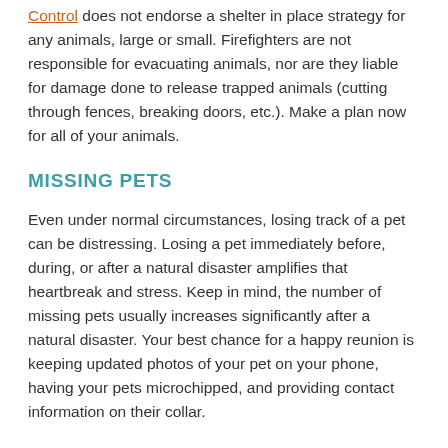Control does not endorse a shelter in place strategy for any animals, large or small. Firefighters are not responsible for evacuating animals, nor are they liable for damage done to release trapped animals (cutting through fences, breaking doors, etc.). Make a plan now for all of your animals.
MISSING PETS
Even under normal circumstances, losing track of a pet can be distressing. Losing a pet immediately before, during, or after a natural disaster amplifies that heartbreak and stress. Keep in mind, the number of missing pets usually increases significantly after a natural disaster. Your best chance for a happy reunion is keeping updated photos of your pet on your phone, having your pets microchipped, and providing contact information on their collar.
During and immediately following a disaster, you may